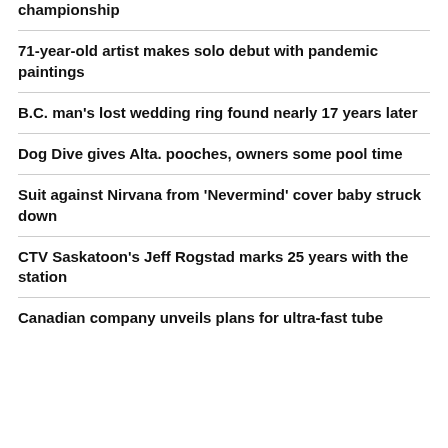championship
71-year-old artist makes solo debut with pandemic paintings
B.C. man's lost wedding ring found nearly 17 years later
Dog Dive gives Alta. pooches, owners some pool time
Suit against Nirvana from 'Nevermind' cover baby struck down
CTV Saskatoon's Jeff Rogstad marks 25 years with the station
Canadian company unveils plans for ultra-fast tube